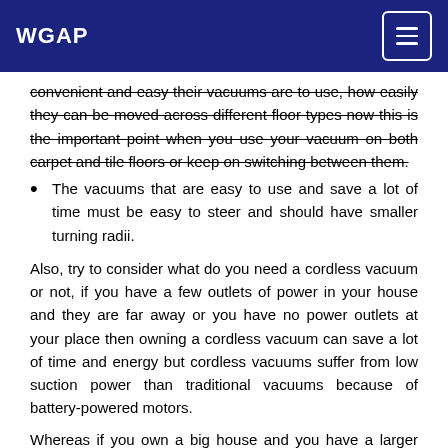WGAP
convenient and easy their vacuums are to use, how easily they can be moved across different floor types now this is the important point when you use your vacuum on both carpet and tile floors or keep on switching between them.
The vacuums that are easy to use and save a lot of time must be easy to steer and should have smaller turning radii.
Also, try to consider what do you need a cordless vacuum or not, if you have a few outlets of power in your house and they are far away or you have no power outlets at your place then owning a cordless vacuum can save a lot of time and energy but cordless vacuums suffer from low suction power than traditional vacuums because of battery-powered motors.
Whereas if you own a big house and you have a larger area to clean then cordless vacuums can be a disaster